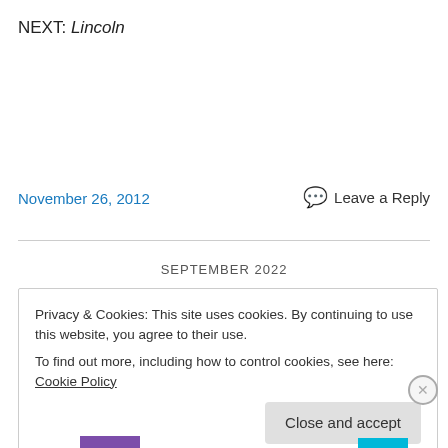NEXT: Lincoln
November 26, 2012
Leave a Reply
SEPTEMBER 2022
Privacy & Cookies: This site uses cookies. By continuing to use this website, you agree to their use.
To find out more, including how to control cookies, see here: Cookie Policy
Close and accept